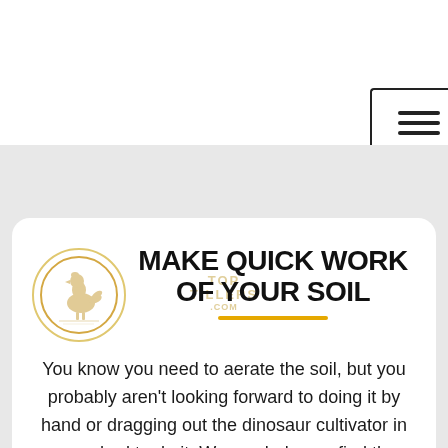[Figure (logo): Top Tillers .com logo — circular badge with golden border, rooster/tiller illustration inside, watermark text 'TOP TILLERS .COM']
MAKE QUICK WORK OF YOUR SOIL
You know you need to aerate the soil, but you probably aren't looking forward to doing it by hand or dragging out the dinosaur cultivator in your shed to do it. We can help you find the perfect cultivator